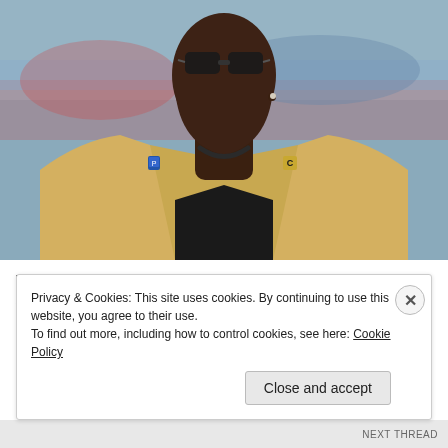[Figure (photo): Close-up photo of Terrell Owens wearing sunglasses and a gold/tan blazer with a black undershirt and necklace, standing on what appears to be a sports field with a blurred background.]
Terrell Owens finds out the hard way that white women have perfected weaponizing their tears...
The Grio
Privacy & Cookies: This site uses cookies. By continuing to use this website, you agree to their use.
To find out more, including how to control cookies, see here: Cookie Policy
Close and accept